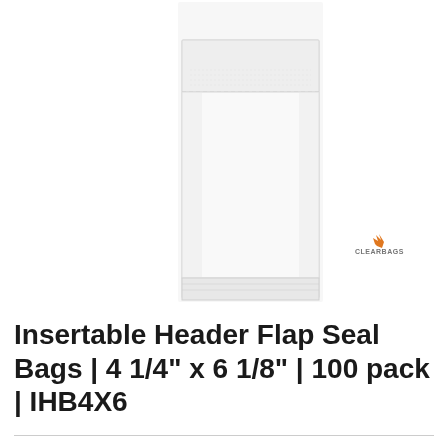[Figure (photo): Product photo of a clear insertable header flap seal bag, tall and narrow, shown against a white background. The bag has a header flap at the top and a bottom seal. A ClearBags logo appears in the lower right of the image area.]
Insertable Header Flap Seal Bags | 4 1/4" x 6 1/8" | 100 pack | IHB4X6